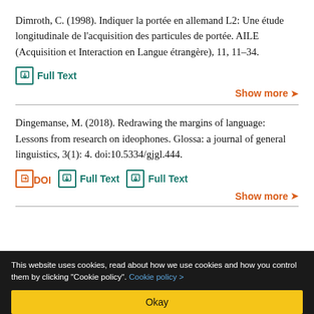Dimroth, C. (1998). Indiquer la portée en allemand L2: Une étude longitudinale de l'acquisition des particules de portée. AILE (Acquisition et Interaction en Langue étrangère), 11, 11–34.
Full Text
Show more
Dingemanse, M. (2018). Redrawing the margins of language: Lessons from research on ideophones. Glossa: a journal of general linguistics, 3(1): 4. doi:10.5334/gjgl.444.
DOI  Full Text  Full Text
Show more
This website uses cookies, read about how we use cookies and how you control them by clicking "Cookie policy". Cookie policy >